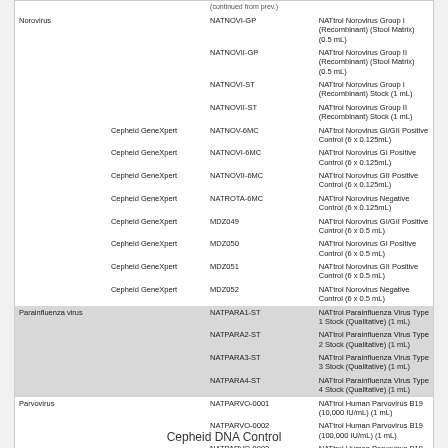|  |  | Catalog # | Description |
| --- | --- | --- | --- |
| Norovirus |  | NATNOVI-GP | NATtrol Norovirus Group I (Recombinant) (Stool Matrix) (0.5 mL) |
|  |  | NATNOVII-GP | NATtrol Norovirus Group II (Recombinant) (Stool Matrix) (0.5 mL) |
|  |  | NATNOVI-ST | NATtrol Norovirus Group I (Recombinant) Stock (1 mL) |
|  |  | NATNOVII-ST | NATtrol Norovirus Group II (Recombinant) Stock (1 mL) |
|  | Cepheid GeneXpert | NATNOV-6MC | NATtrol Norovirus GI/GII Positive Control (6 x 0.125mL) |
|  | Cepheid GeneXpert | NATNOVI-6MC | NATtrol Norovirus GI Positive Control (6 x 0.125mL) |
|  | Cepheid GeneXpert | NATNOVII-6MC | NATtrol Norovirus GII Positive Control (6 x 0.125mL) |
|  | Cepheid GeneXpert | NATROTA-6MC | NATtrol Norovirus Negative Control (6 x 0.125mL) |
|  | Cepheid GeneXpert | MDZ049 | NATtrol Norovirus GI/GII Positive Control (6 x 0.5 mL) |
|  | Cepheid GeneXpert | MDZ050 | NATtrol Norovirus GI Positive Control (6 x 0.5 mL) |
|  | Cepheid GeneXpert | MDZ051 | NATtrol Norovirus GII Positive Control (6 x 0.5 mL) |
|  | Cepheid GeneXpert | MDZ052 | NATtrol Norovirus Negative Control (6 x 0.5 mL) |
| Parainfluenza virus |  | NATPARA1-ST | NATtrol Parainfluenza Virus Type 1 Stock (Qualitative) (1 mL) |
|  |  | NATPARA2-ST | NATtrol Parainfluenza Virus Type 2 Stock (Qualitative) (1 mL) |
|  |  | NATPARA3-ST | NATtrol Parainfluenza Virus Type 3 Stock (Qualitative) (1 mL) |
|  |  | NATPARA4-ST | NATtrol Parainfluenza Virus Type 4 Stock (Qualitative) (1 mL) |
| Parvovirus |  | NATPARVO-0001 | NATtrol Human Parvovirus B19 (10,000 IU/mL) (1 mL) |
|  |  | NATPARVO-0002 | NATtrol Human Parvovirus B19 (100,000 IU/mL) (1 mL) |
|  |  | NATPARVO-0003 | NATtrol Human Parvovirus B19 (1,000,000 IU/mL) (1 mL) |
|  |  | NATPARVO-0004 | NATtrol Human Parvovirus B19 (10,000,000 IU/mL) (1 mL) |
|  |  | NATPARVO-0005 | NATtrol Human Parvovirus B19 (100,000,000 IU/mL) (1 mL) |
Cepheid DNA Control